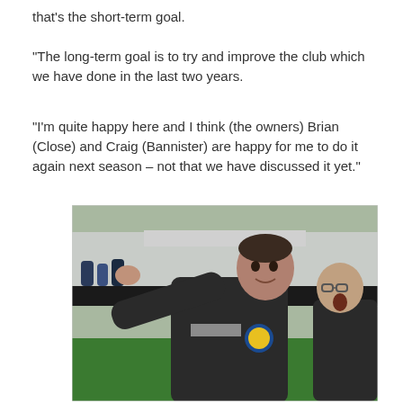that’s the short-term goal.
“The long-term goal is to try and improve the club which we have done in the last two years.
“I’m quite happy here and I think (the owners) Brian (Close) and Craig (Bannister) are happy for me to do it again next season – not that we have discussed it yet.”
[Figure (photo): A man in a dark jacket with a club badge pointing with his right arm outstretched on a football pitch sideline, with another bald man in glasses visible behind him and spectators and a stand in the background.]